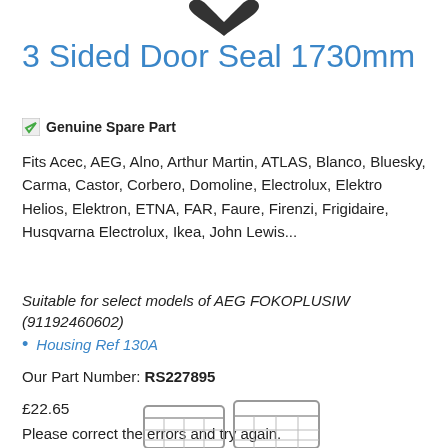[Figure (photo): Partial product image at top, showing a dark-colored door seal component]
3 Sided Door Seal 1730mm
Genuine Spare Part Genuine Spare Part
Fits Acec, AEG, Alno, Arthur Martin, ATLAS, Blanco, Bluesky, Carma, Castor, Corbero, Domoline, Electrolux, Elektro Helios, Elektron, ETNA, FAR, Faure, Firenzi, Frigidaire, Husqvarna Electrolux, Ikea, John Lewis...
Suitable for select models of AEG FOKOPLUSIW (91192460602)
Housing Ref 130A
Our Part Number: RS227895
£22.65
Please correct the errors and try again.
[Figure (photo): Partial product image at bottom, showing a basket/shopping cart component]